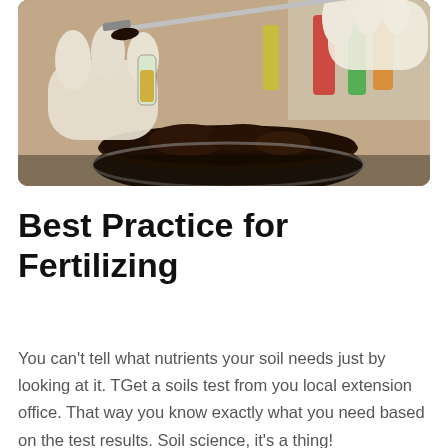[Figure (photo): Close-up photo of gloved hands using a spatula to place dark soil into a small glass container, with a glass bowl of soil in the foreground and colorful lab bottles in the background.]
Best Practice for Fertilizing
You can't tell what nutrients your soil needs just by looking at it. TGet a soils test from you local extension office. That way you know exactly what you need based on the test results. Soil science, it's a thing!